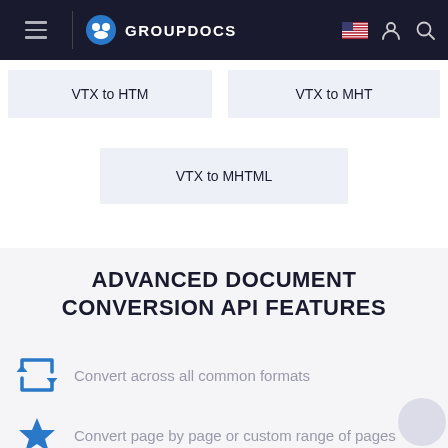GROUPDOCS
VTX to HTM
VTX to MHT
VTX to MHTML
ADVANCED DOCUMENT CONVERSION API FEATURES
Convert across all common formats
Convert page by page or custom range of pages